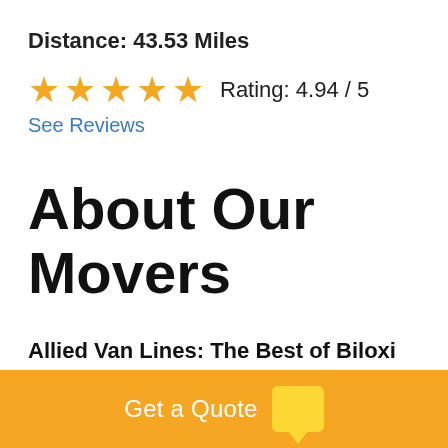Distance: 43.53 Miles
★★★★★ Rating: 4.94 / 5
See Reviews
About Our Movers
Allied Van Lines: The Best of Biloxi Moving Companies
Get a Quote